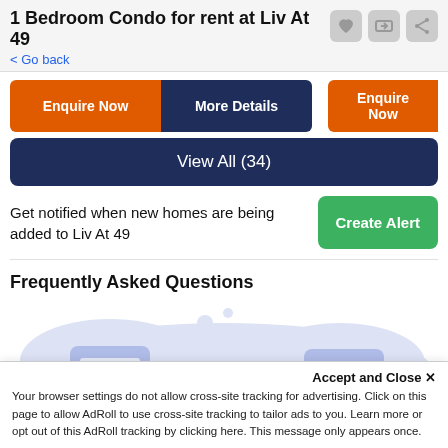1 Bedroom Condo for rent at Liv At 49
< Go back
Enquire Now | More Details | Enquire Now
View All (34)
Get notified when new homes are being added to Liv At 49
Create Alert
Frequently Asked Questions
[Figure (illustration): FAQ illustration showing person with speech bubbles and documents on a light blue/purple background]
Accept and Close ✕
Your browser settings do not allow cross-site tracking for advertising. Click on this page to allow AdRoll to use cross-site tracking to tailor ads to you. Learn more or opt out of this AdRoll tracking by clicking here. This message only appears once.